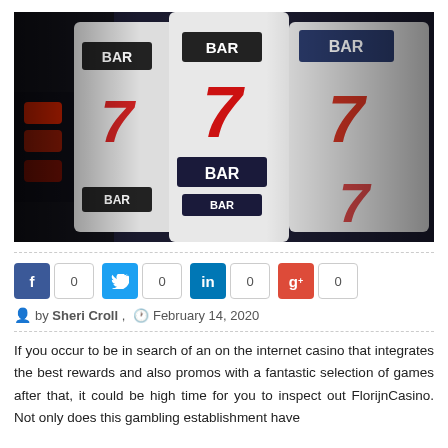[Figure (photo): Close-up photograph of slot machine reels showing BAR symbols and red 7s on white reels, with dark moody lighting and red illuminated buttons visible on the left.]
by Sheri Croll , February 14, 2020
If you occur to be in search of an on the internet casino that integrates the best rewards and also promos with a fantastic selection of games after that, it could be high time for you to inspect out FlorijnCasino. Not only does this gambling establishment have